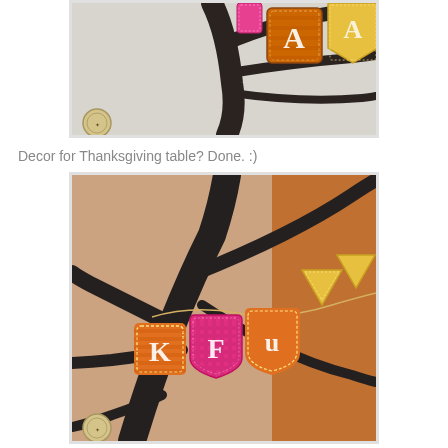[Figure (photo): Close-up photo of colorful Thanksgiving banner letters hung on dark bare branches against a light background. Orange and pink patterned pennant letters visible including 'A'. Logo watermark in lower left corner.]
Decor for Thanksgiving table? Done. :)
[Figure (photo): Photo of a dark bare branch tree with colorful Thanksgiving banner/bunting strung across it. Letters 'K', 'F', 'u' visible on orange and pink patterned pennant flags. Background shows warm orange/brown tones. Logo watermark in lower left corner.]